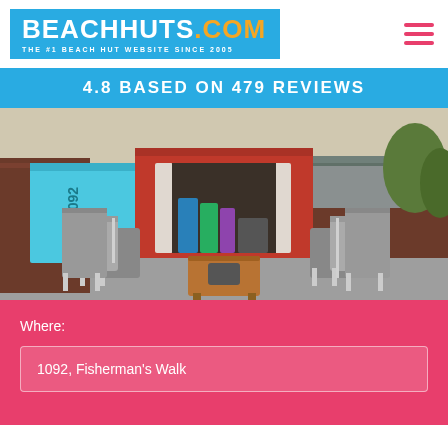[Figure (logo): BEACHHUTS.COM logo on blue background with tagline THE #1 BEACH HUT WEBSITE SINCE 2005]
4.8 BASED ON  479 REVIEWS
[Figure (photo): Photograph of a red beach hut numbered 1092 at Fisherman's Walk, with the doors open and four grey outdoor chairs and a small wooden table arranged in front of it. Adjacent beach huts visible on both sides.]
Where:
1092, Fisherman's Walk